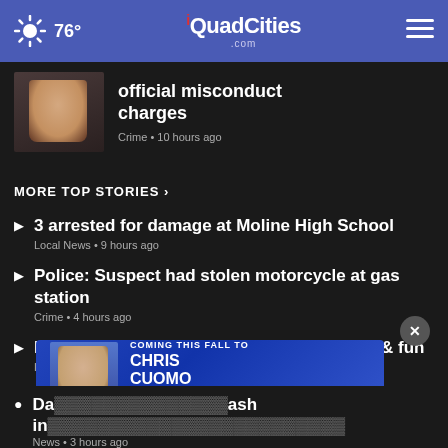76° | iQuadCities.com
official misconduct charges
Crime • 10 hours ago
MORE TOP STORIES ›
3 arrested for damage at Moline High School
Local News • 9 hours ago
Police: Suspect had stolen motorcycle at gas station
Crime • 4 hours ago
Fall Beaux Arts Fair to draw crowds for art & fun
Local News • 3 hours ago
[Figure (screenshot): Chris Cuomo Coming this Fall to NewsNation advertisement overlay]
Da...ash in...
News • 3 hours ago